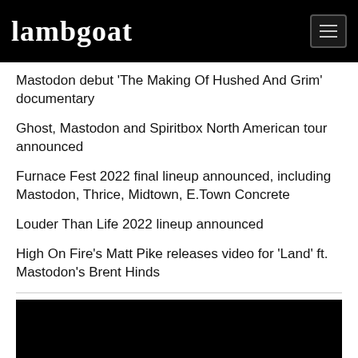Lambgoat
Mastodon debut 'The Making Of Hushed And Grim' documentary
Ghost, Mastodon and Spiritbox North American tour announced
Furnace Fest 2022 final lineup announced, including Mastodon, Thrice, Midtown, E.Town Concrete
Louder Than Life 2022 lineup announced
High On Fire's Matt Pike releases video for 'Land' ft. Mastodon's Brent Hinds
[Figure (screenshot): Black rectangular area representing a video player or image placeholder at the bottom of the page]